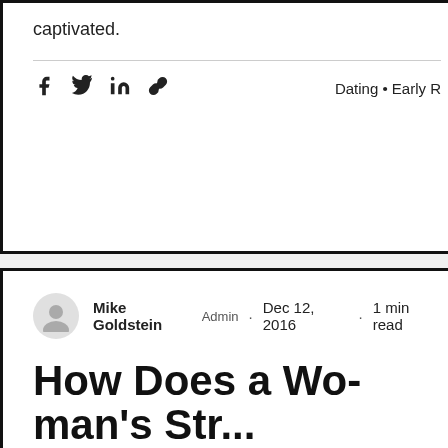captivated.
Share via Facebook, Twitter, LinkedIn, link. Dating • Early R...
Mike Goldstein Admin · Dec 12, 2016 · 1 min read
How Does a Woman's Str... Effect Her Relationship W...